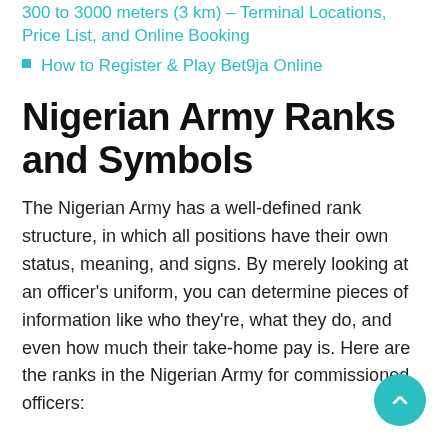300 to 3000 meters (3 km) – Terminal Locations, Price List, and Online Booking
How to Register & Play Bet9ja Online
Nigerian Army Ranks and Symbols
The Nigerian Army has a well-defined rank structure, in which all positions have their own status, meaning, and signs. By merely looking at an officer's uniform, you can determine pieces of information like who they're, what they do, and even how much their take-home pay is. Here are the ranks in the Nigerian Army for commissioned officers: